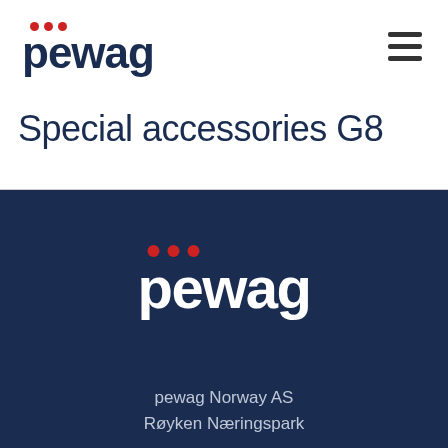[Figure (logo): pewag logo with three red dots above the text, dark navy color, top-left of white header section]
[Figure (infographic): Hamburger menu icon (three horizontal dark lines) in top-right corner]
Special accessories G8
[Figure (logo): pewag logo with three red dots above the text, white color on dark navy background, centered in footer section]
pewag Norway AS
Røyken Næringspark